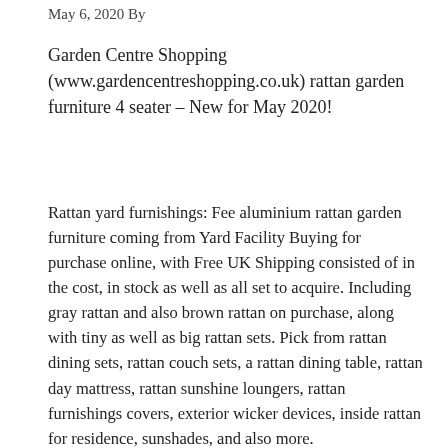May 6, 2020 By
Garden Centre Shopping (www.gardencentreshopping.co.uk) rattan garden furniture 4 seater – New for May 2020!
Rattan yard furnishings: Fee aluminium rattan garden furniture coming from Yard Facility Buying for purchase online, with Free UK Shipping consisted of in the cost, in stock as well as all set to acquire. Including gray rattan and also brown rattan on purchase, along with tiny as well as big rattan sets. Pick from rattan dining sets, rattan couch sets, a rattan dining table, rattan day mattress, rattan sunshine loungers, rattan furnishings covers, exterior wicker devices, inside rattan for residence, sunshades, and also more.